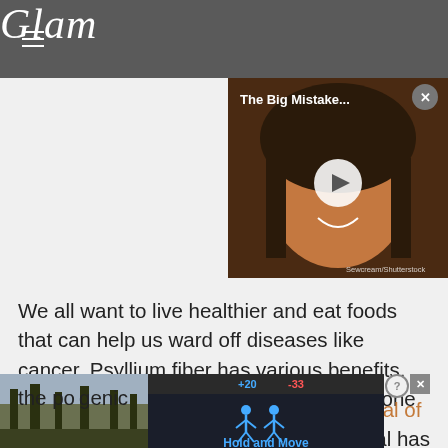Glam
[Figure (screenshot): Video thumbnail showing a woman smiling with text 'The Big Mistake...' and a play button overlay. Photo credit: Sewcream/Shutterstock]
We all want to live healthier and eat foods that can help us ward off diseases like cancer. Psyllium fiber has various benefits, and possibly preventing colon cancer is one of them.
A study published in the American Journal of Clinical... al has the po... genic
[Figure (screenshot): Bottom advertisement overlay showing 'Hold and Move' mobile game ad with silhouette figures and score display]